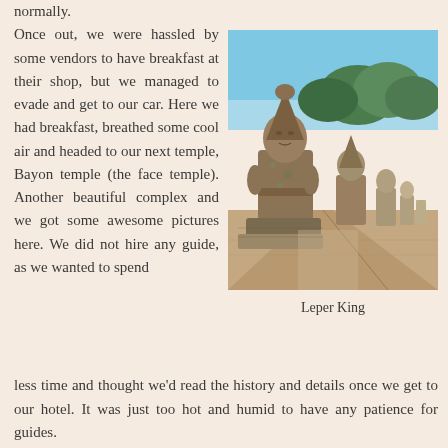normally.
Once out, we were hassled by some vendors to have breakfast at their shop, but we managed to evade and get to our car. Here we had breakfast, breathed some cool air and headed to our next temple, Bayon temple (the face temple). Another beautiful complex and we got some awesome pictures here. We did not hire any guide, as we wanted to spend less time and thought we'd read the history and details once we get to our hotel. It was just too hot and humid to have any patience for guides.
[Figure (photo): Row of ancient stone statues (Leper King causeway) at Angkor Thom, Cambodia, with blue sky and green trees in background]
Leper King